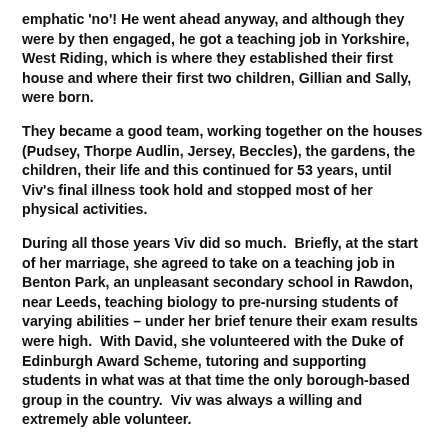emphatic 'no'!  He went ahead anyway, and although they were by then engaged, he got a teaching job in Yorkshire, West Riding, which is where they established their first house and where their first two children, Gillian and Sally, were born.
They became a good team, working together on the houses (Pudsey, Thorpe Audlin, Jersey, Beccles), the gardens, the children, their life and this continued for 53 years, until Viv's final illness took hold and stopped most of her physical activities.
During all those years Viv did so much.  Briefly, at the start of her marriage, she agreed to take on a teaching job in Benton Park, an unpleasant secondary school in Rawdon, near Leeds, teaching biology to pre-nursing students of varying abilities – under her brief tenure their exam results were high.  With David, she volunteered with the Duke of Edinburgh Award Scheme, tutoring and supporting students in what was at that time the only borough-based group in the country.  Viv was always a willing and extremely able volunteer.